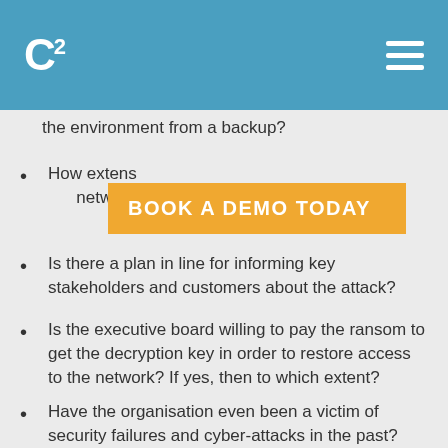C² [logo with hamburger menu]
the environment from a backup?
[Figure (other): Orange CTA banner reading BOOK A DEMO TODAY]
How extensively has ransomware spread across the network?
Is there a plan in line for informing key stakeholders and customers about the attack?
Is the executive board willing to pay the ransom to get the decryption key in order to restore access to the network? If yes, then to which extent?
Have the organisation even been a victim of security failures and cyber-attacks in the past?
Answering these questions can help identify potential weaknesses in the company's